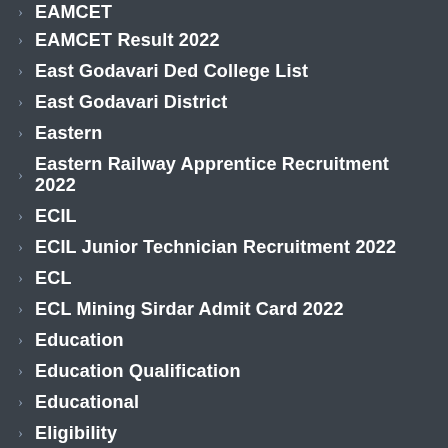EAMCET
EAMCET Result 2022
East Godavari Ded College List
East Godavari District
Eastern
Eastern Railway Apprentice Recruitment 2022
ECIL
ECIL Junior Technician Recruitment 2022
ECL
ECL Mining Sirdar Admit Card 2022
Education
Education Qualification
Educational
Eligibility